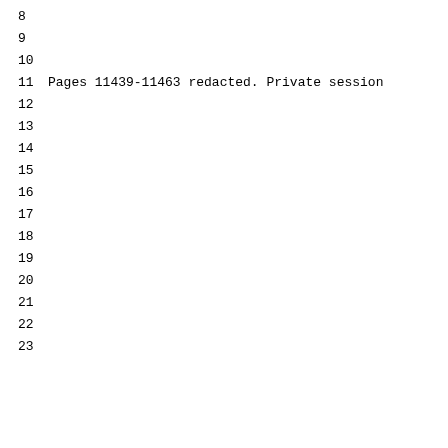8
9
10
11 Pages 11439-11463 redacted. Private session
12
13
14
15
16
17
18
19
20
21
22
23